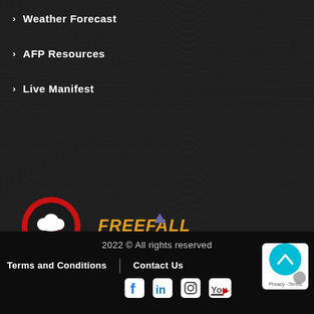Weather Forecast
AFP Resources
Live Manifest
[Figure (logo): Cookie brand logo - circular red and black logo with white cloud icon and red Cookie text below]
[Figure (logo): FreeFall Foundation logo with orange/yellow bold italic text and grey FOUNDATION subtitle with triangle accent]
2022 © All rights reserved
Terms and Conditions   Contact Us
Social media icons: Facebook, LinkedIn, Instagram, YouTube